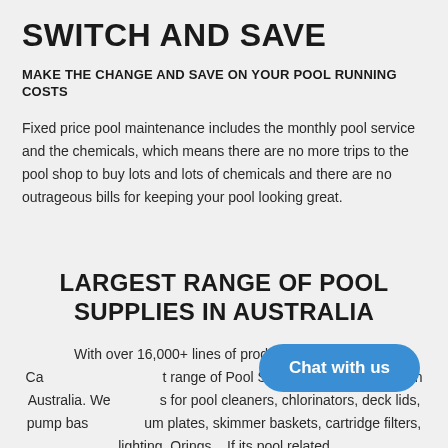SWITCH AND SAVE
MAKE THE CHANGE AND SAVE ON YOUR POOL RUNNING COSTS
Fixed price pool maintenance includes the monthly pool service and the chemicals, which means there are no more trips to the pool shop to buy lots and lots of chemicals and there are no outrageous bills for keeping your pool looking great.
LARGEST RANGE OF POOL SUPPLIES IN AUSTRALIA
With over 16,000+ lines of products Budget Pool Ca... range of Pool Supplies and equipment in Australia. We... s for pool cleaners, chlorinators, deck lids, pump bas... um plates, skimmer baskets, cartridge filters, lighting, Orings... If its pool related